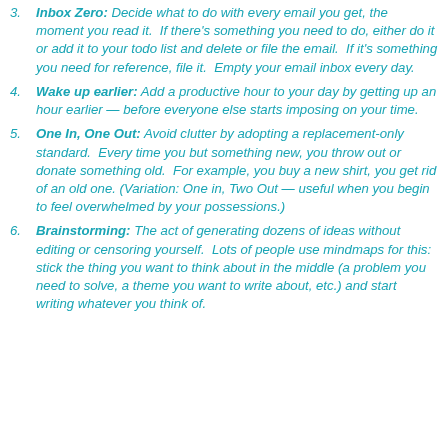3. Inbox Zero: Decide what to do with every email you get, the moment you read it. If there's something you need to do, either do it or add it to your todo list and delete or file the email. If it's something you need for reference, file it. Empty your email inbox every day.
4. Wake up earlier: Add a productive hour to your day by getting up an hour earlier — before everyone else starts imposing on your time.
5. One In, One Out: Avoid clutter by adopting a replacement-only standard. Every time you but something new, you throw out or donate something old. For example, you buy a new shirt, you get rid of an old one. (Variation: One in, Two Out — useful when you begin to feel overwhelmed by your possessions.)
6. Brainstorming: The act of generating dozens of ideas without editing or censoring yourself. Lots of people use mindmaps for this: stick the thing you want to think about in the middle (a problem you need to solve, a theme you want to write about, etc.) and start writing whatever you think of.